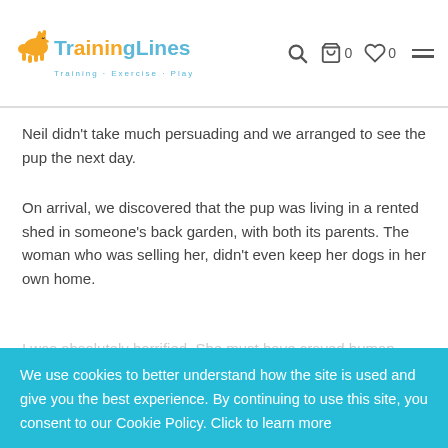TrainingLines — Training · Exercise · Play
Neil didn't take much persuading and we arranged to see the pup the next day.
On arrival, we discovered that the pup was living in a rented shed in someone's back garden, with both its parents. The woman who was selling her, didn't even keep her dogs in her own home.
[Figure (screenshot): Cookie consent banner with teal background reading: We use cookies to better understand how the site is used and give you the best experience. By continuing to use this site, you consent to our Cookie Policy. Click to learn more. With an OK button at bottom right.]
human contact, she spent the whole time asleep on my lap! She was a small white bundle of fluff and a real poppet.